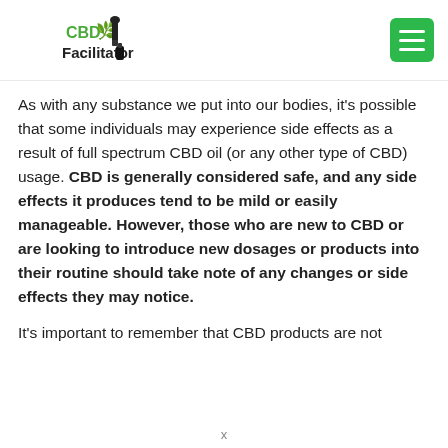CBD Facilitator
As with any substance we put into our bodies, it's possible that some individuals may experience side effects as a result of full spectrum CBD oil (or any other type of CBD) usage. CBD is generally considered safe, and any side effects it produces tend to be mild or easily manageable. However, those who are new to CBD or are looking to introduce new dosages or products into their routine should take note of any changes or side effects they may notice.
It's important to remember that CBD products are not